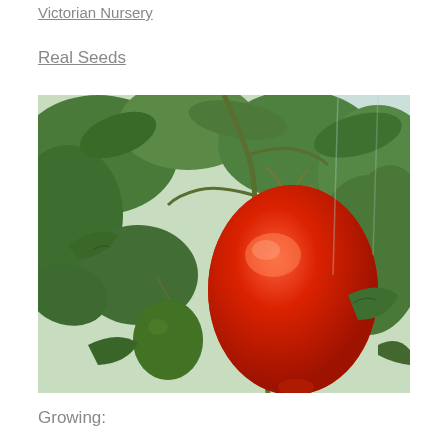Victorian Nursery
Real Seeds
[Figure (photo): A ripe red oval/plum tomato hanging on the vine inside a greenhouse, surrounded by green leaves and unripe green tomatoes, with a plastic greenhouse wall visible in the background.]
Growing: